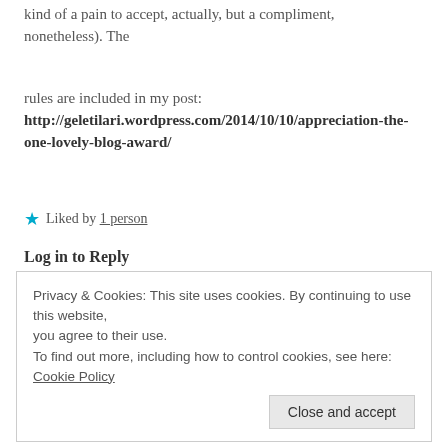kind of a pain to accept, actually, but a compliment, nonetheless). The
rules are included in my post: http://geletilari.wordpress.com/2014/10/10/appreciation-the-one-lovely-blog-award/
★ Liked by 1 person
Log in to Reply
Love Happy Notes - Daily Fun and Inspiration says: October 10, 2014 at 3:25 pm
Privacy & Cookies: This site uses cookies. By continuing to use this website, you agree to their use. To find out more, including how to control cookies, see here: Cookie Policy
Close and accept